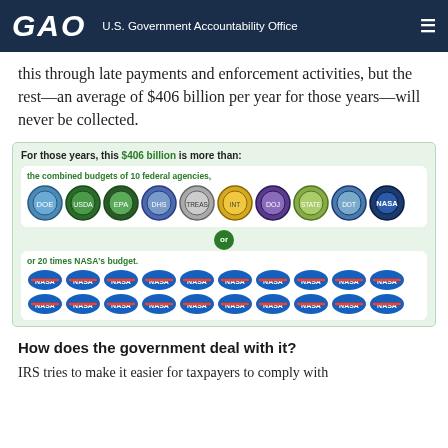GAO — U.S. Government Accountability Office
this through late payments and enforcement activities, but the rest—an average of $406 billion per year for those years—will never be collected.
[Figure (infographic): Infographic showing that $406 billion is more than: the combined budgets of 10 federal agencies (shown with 10 agency seals), or 20 times NASA's budget (shown with 20 NASA logos).]
How does the government deal with it?
IRS tries to make it easier for taxpayers to comply with